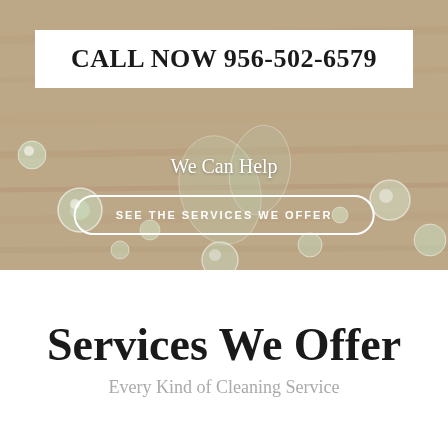[Figure (photo): Background photo of a wooden surface with glass marbles/beads scattered on it, muted earthy tones, used as hero section background.]
CALL NOW 956-502-6579
We Can Help
SEE THE SERVICES WE OFFER
Services We Offer
Every Kind of Cleaning Service